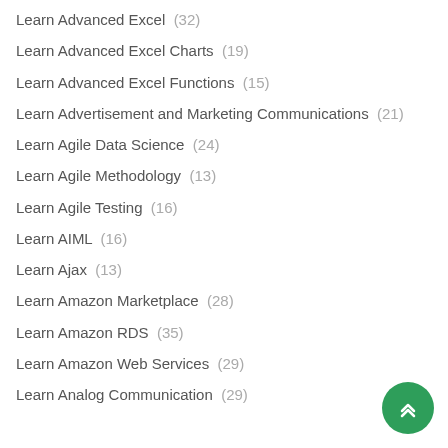Learn Advanced Excel (32)
Learn Advanced Excel Charts (19)
Learn Advanced Excel Functions (15)
Learn Advertisement and Marketing Communications (21)
Learn Agile Data Science (24)
Learn Agile Methodology (13)
Learn Agile Testing (16)
Learn AIML (16)
Learn Ajax (13)
Learn Amazon Marketplace (28)
Learn Amazon RDS (35)
Learn Amazon Web Services (29)
Learn Analog Communication (29)